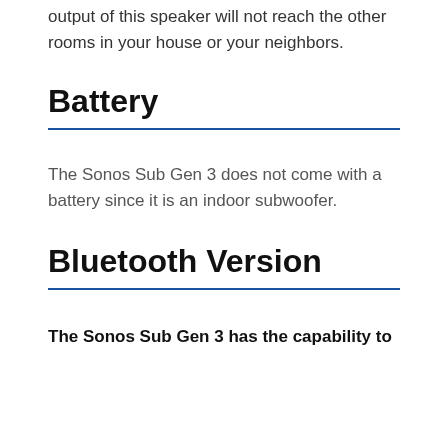output of this speaker will not reach the other rooms in your house or your neighbors.
Battery
The Sonos Sub Gen 3 does not come with a battery since it is an indoor subwoofer.
Bluetooth Version
The Sonos Sub Gen 3 has the capability to